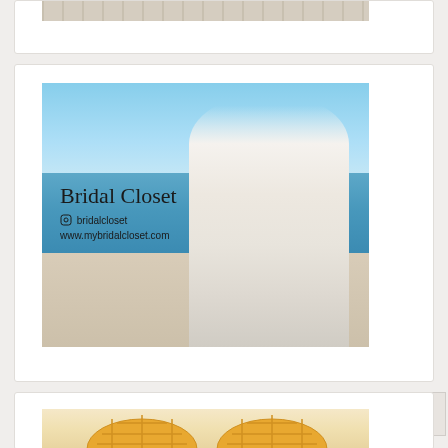[Figure (photo): Top partial card showing a wooden fence or plank background image, cropped at top of page]
[Figure (photo): Bridal Closet advertisement photo showing a bride in a lace wedding dress standing on a beach, with overlay text reading 'Bridal Closet', Instagram handle '@bridalcloset', and website 'www.mybridalcloset.com']
[Figure (photo): Bottom partial card showing rattan/wicker chairs, cropped at bottom of page]